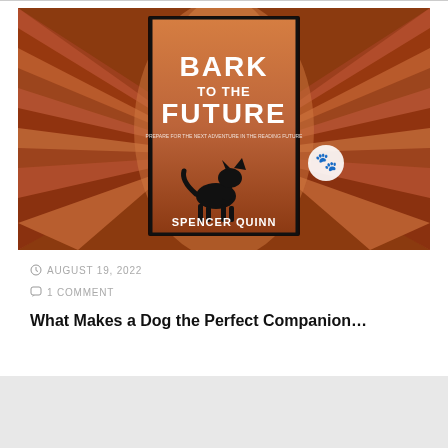[Figure (photo): Book cover for 'Bark to the Future' by Spencer Quinn, showing a black dog in a canyon setting with reddish-brown rock walls, displayed against a matching canyon background image]
AUGUST 19, 2022
1 COMMENT
What Makes a Dog the Perfect Companion...
[Figure (other): Social media icon buttons row at bottom: Facebook, Twitter, Google+, Goodreads, Instagram, Pinterest, and more]